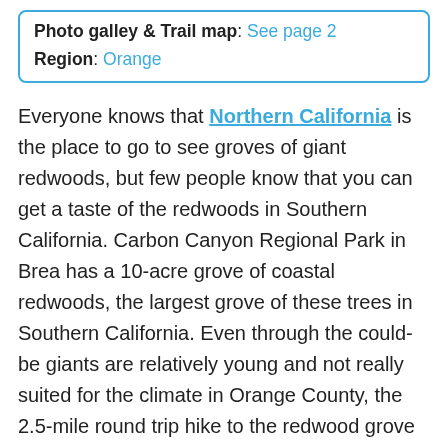Photo galley & Trail map: See page 2
Region: Orange
Everyone knows that Northern California is the place to go to see groves of giant redwoods, but few people know that you can get a taste of the redwoods in Southern California. Carbon Canyon Regional Park in Brea has a 10-acre grove of coastal redwoods, the largest grove of these trees in Southern California. Even through the could-be giants are relatively young and not really suited for the climate in Orange County, the 2.5-mile round trip hike to the redwood grove is a small treat for SoCal residents who can't make it to the north end